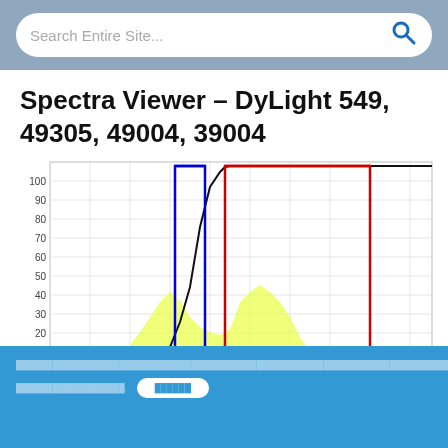Search Entire Site...
Spectra Viewer – DyLight 549, 49305, 49004, 39004
[Figure (continuous-plot): Spectra viewer chart showing %T (percent transmission) on the y-axis from 0 to 100. Multiple overlapping spectral curves are shown: a yellow filled area curve (excitation/emission spectrum of DyLight 549), a blue rectangular bandpass filter curve rising sharply near 480-510nm, a black sigmoid-shaped curve (longpass filter), and a red rectangular bandpass filter curve spanning approximately 560-700nm. The yellow filled area peaks around 50%T near 500nm then has a secondary broader emission peak around 560-620nm reaching about 30%T.]